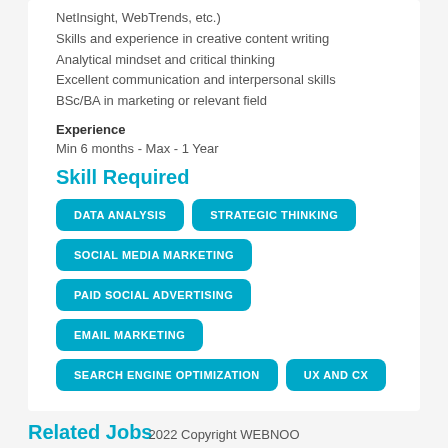NetInsight, WebTrends, etc.)
Skills and experience in creative content writing
Analytical mindset and critical thinking
Excellent communication and interpersonal skills
BSc/BA in marketing or relevant field
Experience
Min 6 months - Max - 1 Year
Skill Required
DATA ANALYSIS
STRATEGIC THINKING
SOCIAL MEDIA MARKETING
PAID SOCIAL ADVERTISING
EMAIL MARKETING
SEARCH ENGINE OPTIMIZATION
UX AND CX
Related Jobs
2022 Copyright WEBNOO